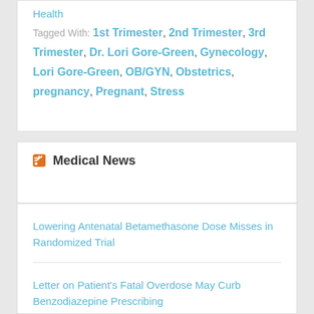Health
Tagged With: 1st Trimester, 2nd Trimester, 3rd Trimester, Dr. Lori Gore-Green, Gynecology, Lori Gore-Green, OB/GYN, Obstetrics, pregnancy, Pregnant, Stress
Medical News
Lowering Antenatal Betamethasone Dose Misses in Randomized Trial
Letter on Patient's Fatal Overdose May Curb Benzodiazepine Prescribing